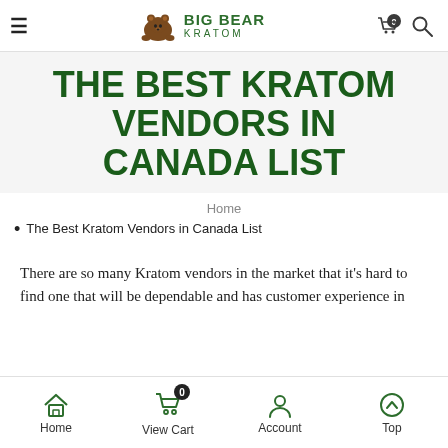Big Bear Kratom — navigation bar with hamburger menu, logo, cart and search icons
THE BEST KRATOM VENDORS IN CANADA LIST
Home
The Best Kratom Vendors in Canada List
There are so many Kratom vendors in the market that it's hard to find one that will be dependable and has customer experience in
Home | View Cart 0 | Account | Top